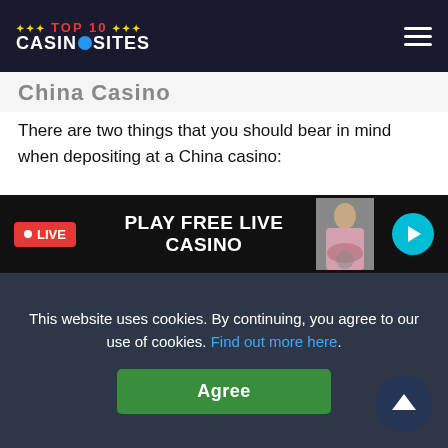TOP 10 CASINO SITES
China Casino
There are two things that you should bear in mind when depositing at a China casino:
1. Anonymity
2. Convenience
E-wallets are a great way to protect your privacy as well as being super convenient. Skrill, ecoPayz, Neteller, PayPal and Siru are some of the biggest e-wallets at casinos that
[Figure (screenshot): Live casino promotional banner with LIVE badge, PLAY FREE LIVE CASINO text, casino dealer image, and teal arrow button]
This website uses cookies. By continuing, you agree to our use of cookies. Find out more here.
Agree